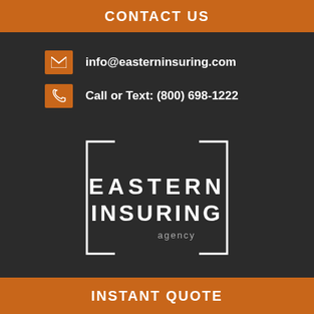CONTACT US
info@easterninsuring.com
Call or Text: (800) 698-1222
[Figure (logo): Eastern Insuring Agency logo: white bracket-style rectangle frame with 'EASTERN INSURING agency' text in white on dark background]
MENU
INSTANT QUOTE